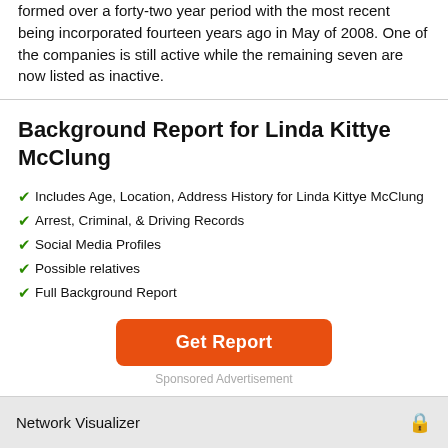formed over a forty-two year period with the most recent being incorporated fourteen years ago in May of 2008. One of the companies is still active while the remaining seven are now listed as inactive.
Background Report for Linda Kittye McClung
Includes Age, Location, Address History for Linda Kittye McClung
Arrest, Criminal, & Driving Records
Social Media Profiles
Possible relatives
Full Background Report
Get Report
Sponsored Advertisement
Network Visualizer